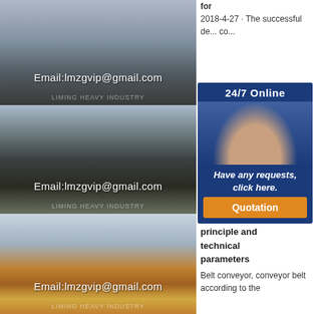[Figure (photo): Industrial mobile crusher/screening machine with blue markings, top image with email overlay]
Email:lmzgvip@gmail.com
[Figure (photo): Mining conveyor belt system with green barriers and dark coal piles, middle image with email overlay]
Email:lmzgvip@gmail.com
[Figure (photo): Yellow and red construction conveyor system on red soil, bottom image with email overlay]
Email:lmzgvip@gmail.com
2018-4-27 · The successful de... co...
[Figure (infographic): 24/7 Online chat widget with customer service representative photo, 'Have any requests, click here.' text and Quotation button]
Be... working principle and technical parameters
Belt conveyor, conveyor belt according to the